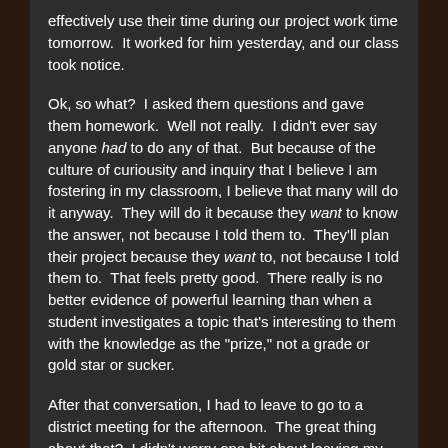effectively use their time during our project work time tomorrow.  It worked for him yesterday, and our class took notice.
Ok, so what?  I asked them questions and gave them homework.  Well not really.  I didn't ever say anyone had to do any of that.  But because of the culture of curiousity and inquiry that I believe I am fostering in my classroom, I believe that many will do it anyway.  They will do it because they want to know the answer, not because I told them to.  They'll plan their project because they want to, not because I told them to.  That feels pretty good.  There really is no better evidence of powerful learning than when a student investigates a topic that's interesting to them with the knowledge as the "prize," not a grade or gold star or sucker.
After that conversation, I had to leave to go to a district meeting for the afternoon.  The great thing about that?  I didn't worry one bit about leaving my class with a sub,